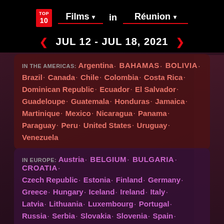TOP 10 Films in Réunion
JUL 12 - JUL 18, 2021
IN THE AMERICAS: Argentina · Bahamas · Bolivia · Brazil · Canada · Chile · Colombia · Costa Rica · Dominican Republic · Ecuador · El Salvador · Guadeloupe · Guatemala · Honduras · Jamaica · Martinique · Mexico · Nicaragua · Panama · Paraguay · Peru · United States · Uruguay · Venezuela
IN EUROPE: Austria · Belgium · Bulgaria · Croatia · Czech Republic · Estonia · Finland · Germany · Greece · Hungary · Iceland · Ireland · Italy · Latvia · Lithuania · Luxembourg · Portugal · Russia · Serbia · Slovakia · Slovenia · Spain ·